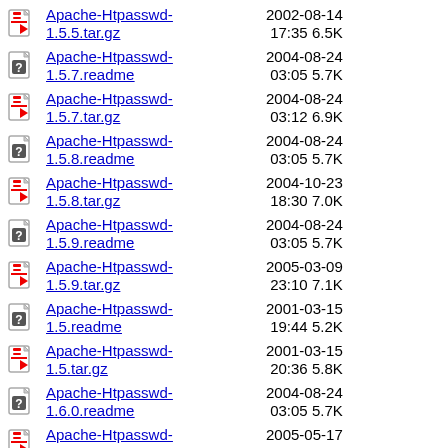Apache-Htpasswd-1.5.5.tar.gz  2002-08-14 17:35 6.5K
Apache-Htpasswd-1.5.7.readme  2004-08-24 03:05 5.7K
Apache-Htpasswd-1.5.7.tar.gz  2004-08-24 03:12 6.9K
Apache-Htpasswd-1.5.8.readme  2004-08-24 03:05 5.7K
Apache-Htpasswd-1.5.8.tar.gz  2004-10-23 18:30 7.0K
Apache-Htpasswd-1.5.9.readme  2004-08-24 03:05 5.7K
Apache-Htpasswd-1.5.9.tar.gz  2005-03-09 23:10 7.1K
Apache-Htpasswd-1.5.readme  2001-03-15 19:44 5.2K
Apache-Htpasswd-1.5.tar.gz  2001-03-15 20:36 5.8K
Apache-Htpasswd-1.6.0.readme  2004-08-24 03:05 5.7K
Apache-Htpasswd-1.6.0.tar.gz  2005-05-17 18:39 7.2K
Apache-Htpasswd-  2005-11-21